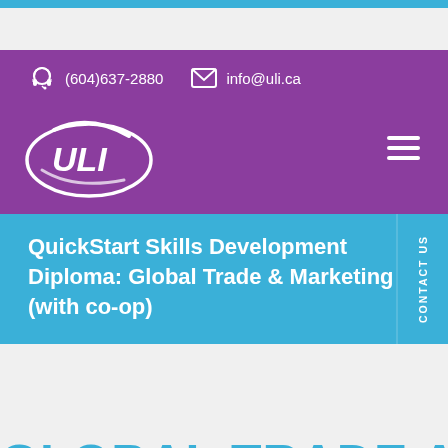(604)637-2880   info@uli.ca
[Figure (logo): ULI logo — white oval with ULI text on purple background]
QuickStart Skills Development Diploma: Global Trade & Marketing (with co-op)
CONTACT US
GLOBAL TRADE AN